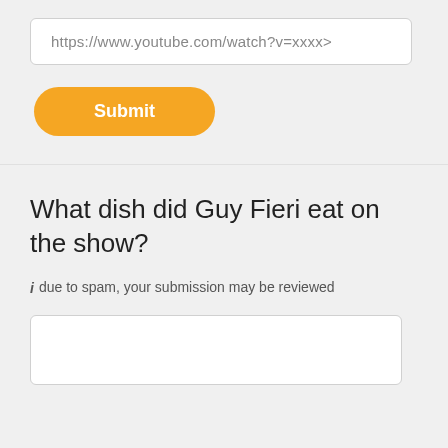[Figure (screenshot): URL input field showing placeholder text https://www.youtube.com/watch?v=xxxx>]
[Figure (screenshot): Orange rounded Submit button]
What dish did Guy Fieri eat on the show?
i due to spam, your submission may be reviewed
[Figure (screenshot): Empty white text area input box for answer]